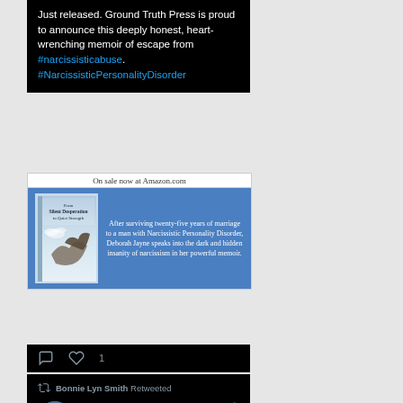Just released. Ground Truth Press is proud to announce this deeply honest, heart-wrenching memoir of escape from #narcissisticabuse. #NarcissisticPersonalityDisorder
[Figure (other): Book advertisement showing 'From Silent Desperation to Quiet Strength' book cover on blue background with description text: 'After surviving twenty-five years of marriage to a man with Narcissistic Personality Disorder, Deborah Jayne speaks into the dark and hidden insanity of narcissism in her powerful memoir.' Header reads 'On sale now at Amazon.com']
1 like
Bonnie Lyn Smith Retweeted
Stephen ... · Apr 19, 2021
How special needs inclusion